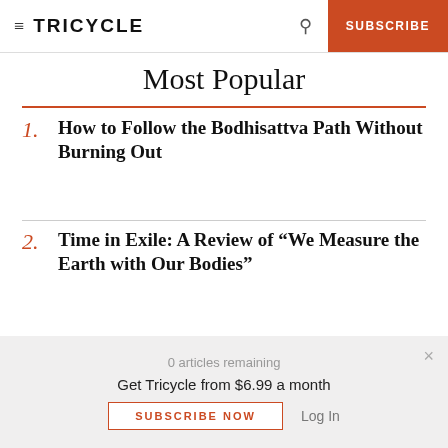TRICYCLE | SUBSCRIBE
Most Popular
1. How to Follow the Bodhisattva Path Without Burning Out
2. Time in Exile: A Review of “We Measure the Earth with Our Bodies”
0 articles remaining
Get Tricycle from $6.99 a month
SUBSCRIBE NOW   Log In
3. The Path of Patience